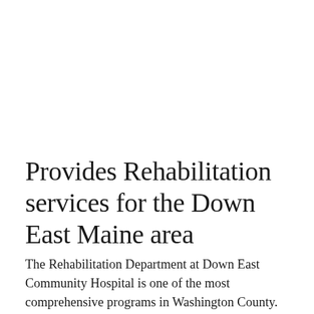Provides Rehabilitation services for the Down East Maine area
The Rehabilitation Department at Down East Community Hospital is one of the most comprehensive programs in Washington County. Our team of highly skilled, caring and professional therapists provide quality inpatient and outpatient